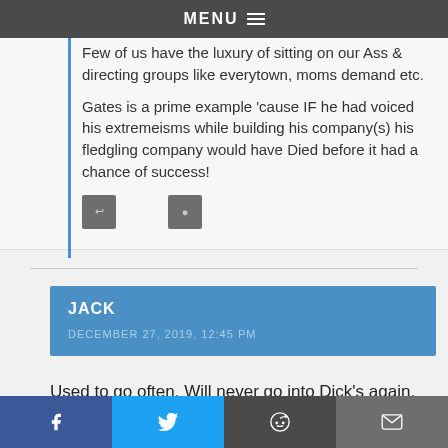MENU
Few of us have the luxury of sitting on our Ass & directing groups like everytown, moms demand etc.
Gates is a prime example 'cause IF he had voiced his extremeisms while building his company(s) his fledgling company would have Died before it had a chance of success!
JACK
DECEMBER 27, 2019, 12:45 PM
Used to go often. Will never go into Dick's again.